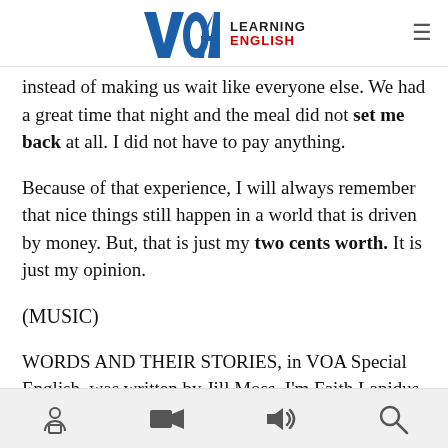VOA LEARNING ENGLISH
instead of making us wait like everyone else. We had a great time that night and the meal did not set me back at all. I did not have to pay anything.
Because of that experience, I will always remember that nice things still happen in a world that is driven by money. But, that is just my two cents worth. It is just my opinion.
(MUSIC)
WORDS AND THEIR STORIES, in VOA Special English, was written by Jill Moss. I'm Faith Lapidus.